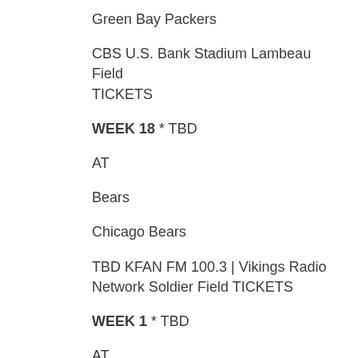Green Bay Packers
CBS U.S. Bank Stadium Lambeau Field TICKETS
WEEK 18 * TBD
AT
Bears
Chicago Bears
TBD KFAN FM 100.3 | Vikings Radio Network Soldier Field TICKETS
WEEK 1 * TBD
AT